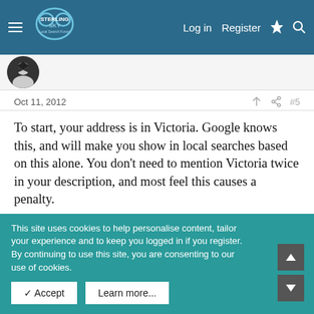STERLING SKY Local Search Forum — Log in  Register
Oct 11, 2012  #5
To start, your address is in Victoria. Google knows this, and will make you show in local searches based on this alone. You don't need to mention Victoria twice in your description, and most feel this causes a penalty.

Your postal code does not match the one on your website.

The phone number and website appear to have been missing until recently. The edit to add them is new enough (2 weeks
This site uses cookies to help personalise content, tailor your experience and to keep you logged in if you register.
By continuing to use this site, you are consenting to our use of cookies.